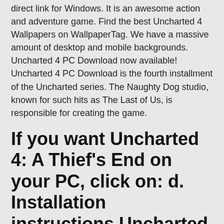direct link for Windows. It is an awesome action and adventure game. Find the best Uncharted 4 Wallpapers on WallpaperTag. We have a massive amount of desktop and mobile backgrounds. Uncharted 4 PC Download now available! Uncharted 4 PC Download is the fourth installment of the Uncharted series. The Naughty Dog studio, known for such hits as The Last of Us, is responsible for creating the game.
If you want Uncharted 4: A Thief's End on your PC, click on: d. Installation instructions Uncharted 4: A Thief's End e version for PC: 1. Unrar 2. Satruk, i downloaded this game two weeks ago, and i